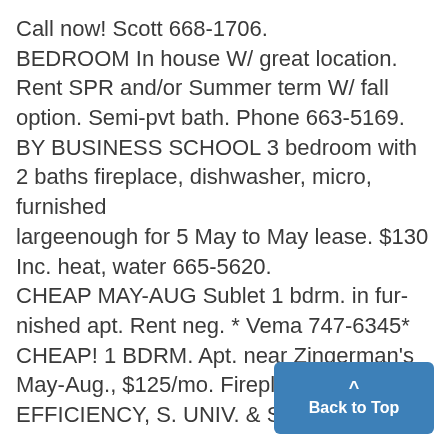Call now! Scott 668-1706.
BEDROOM In house W/ great location. Rent SPR and/or Summer term W/ fall option. Semi-pvt bath. Phone 663-5169.
BY BUSINESS SCHOOL 3 bedroom with 2 baths fireplace, dishwasher, micro, furnished largeenough for 5 May to May lease. $130 Inc. heat, water 665-5620.
CHEAP MAY-AUG Sublet 1 bdrm. in furnished apt. Rent neg. * Vema 747-6345*
CHEAP! 1 BDRM. Apt. near Zingerman's May-Aug., $125/mo. Fireplace. 9...
EFFICIENCY, S. UNIV. & S. Forest,
[Figure (other): Blue 'Back to Top' button with upward arrow, positioned in bottom-right corner]